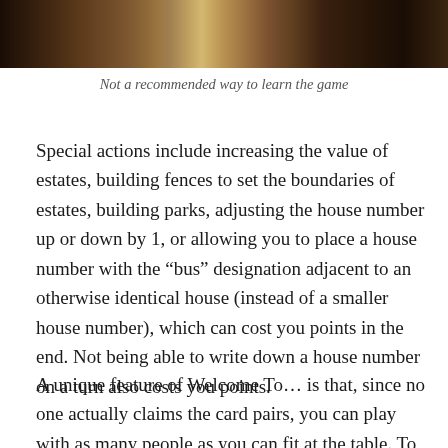[Figure (photo): Dark photograph of people, cropped — only the bottom portion is visible showing figures in dark tones]
Not a recommended way to learn the game
Special actions include increasing the value of estates, building fences to set the boundaries of estates, building parks, adjusting the house number up or down by 1, or allowing you to place a house number with the “bus” designation adjacent to an otherwise identical house (instead of a smaller house number), which can cost you points in the end. Not being able to write down a house number on a turn also costs you points.
A unique feature of Welcome To… is that, since no one actually claims the card pairs, you can play with as many people as you can fit at the table. To that end, I